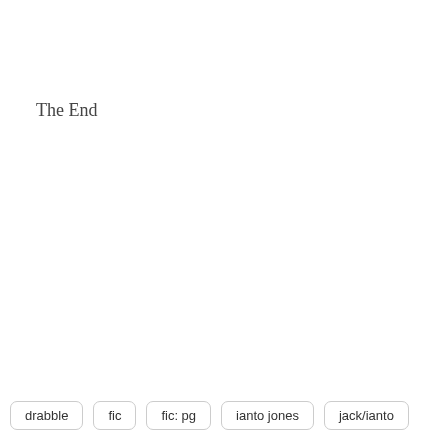The End
drabble
fic
fic: pg
ianto jones
jack/ianto